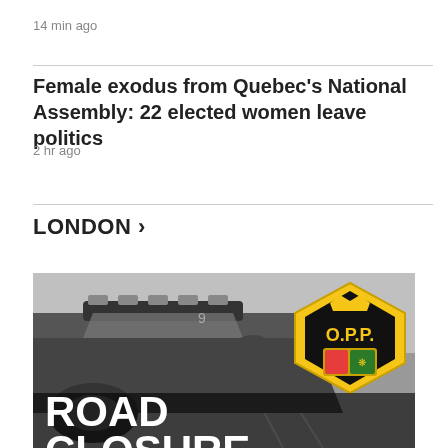14 min ago
Female exodus from Quebec's National Assembly: 22 elected women leave politics
2 hr ago
LONDON >
[Figure (photo): Black and white photo of a police car (O.P.P.) with the OPP badge visible in the top right corner and text reading ROAD CLOSURE at the bottom]